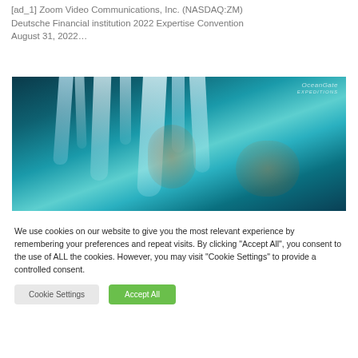[ad_1] Zoom Video Communications, Inc. (NASDAQ:ZM) Deutsche Financial institution 2022 Expertise Convention August 31, 2022…
[Figure (photo): Underwater photograph showing icy/rusticle formations, likely from the Titanic wreck. Image has cyan and blue tones with orange-brown rust coloring. OceanGate logo visible in upper right.]
We use cookies on our website to give you the most relevant experience by remembering your preferences and repeat visits. By clicking "Accept All", you consent to the use of ALL the cookies. However, you may visit "Cookie Settings" to provide a controlled consent.